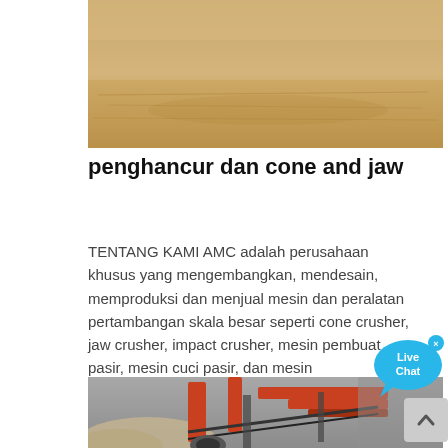[Figure (photo): Top photograph showing a sandy, flat open terrain area — likely a quarry or mining site with sandy ground.]
penghancur dan cone and jaw
TENTANG KAMI AMC adalah perusahaan khusus yang mengembangkan, mendesain, memproduksi dan menjual mesin dan peralatan pertambangan skala besar seperti cone crusher, jaw crusher, impact crusher, mesin pembuat pasir, mesin cuci pasir, dan mesin
[Figure (photo): Bottom photograph showing heavy industrial mining/crushing equipment — orange-red conveyor and crushing machinery with sand and gravel materials.]